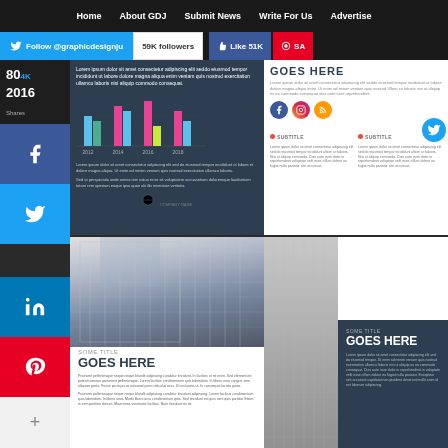Home  About GDJ  Submit News  Write For Us  Advertise
[Figure (infographic): Social media follow bar: Follow @graphicdesignju button, 59K followers badge, Like 51K button, SA Pinterest button]
[Figure (infographic): Left social share sidebar with Facebook, Twitter, LinkedIn, Pinterest, and more (+) buttons. Stats: 80K shares, 2016, 4K]
[Figure (bar-chart): Bar chart with colored bars across years 2012-2018]
[Figure (infographic): Right magazine page with GOES HERE title, subtitle sections, social icons (Facebook, Instagram, RSS), and body text]
[Figure (photo): Modern glass office building photo in black and white]
SOME TITLE
GOES HERE
Lorem ipsum placeholder text describing content in multiple paragraphs
[Figure (infographic): Dark navy box with SOME TITLE / GOES HERE and lorem ipsum body text]